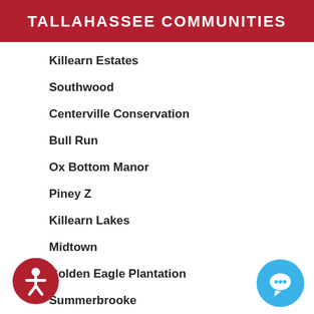TALLAHASSEE COMMUNITIES
Killearn Estates
Southwood
Centerville Conservation
Bull Run
Ox Bottom Manor
Piney Z
Killearn Lakes
Midtown
Golden Eagle Plantation
Summerbrooke